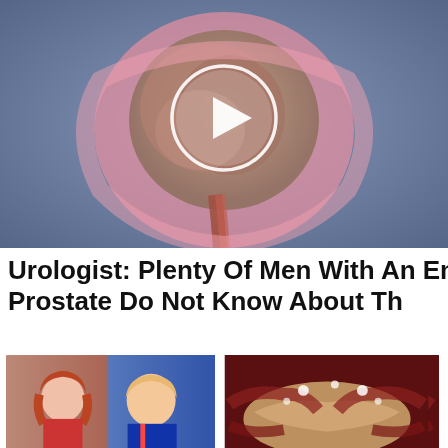[Figure (illustration): Medical animation still of an enlarged prostate anatomy cross-section with a white play button circle overlay, on a blueish-grey background.]
Urologist: Plenty Of Men With An Enlarged Prostate Do Not Know About Th
Promoted  X
[Figure (photo): Side-by-side photo of a woman with red hair (Jen Psaki) and Donald Trump against blue background.]
Most Americans Don't Know These Facts About White House Press Secretary Jen Psaki
🔥 14,781
[Figure (photo): Medical illustration of a pancreas and surrounding tissue on a dark red background with glowing spots.]
Why Doctors In The Know No Longer Prescribe Metformin
🔥 120,556